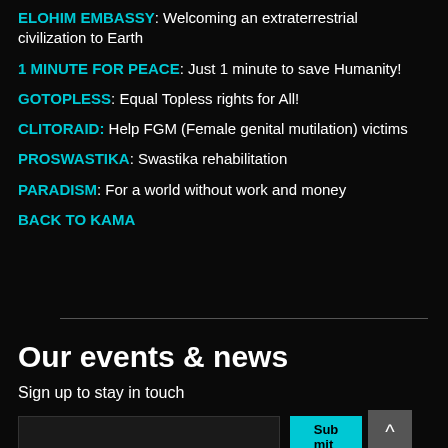ELOHIM EMBASSY: Welcoming an extraterrestrial civilization to Earth
1 MINUTE FOR PEACE: Just 1 minute to save Humanity!
GOTOPLESS: Equal Topless rights for All!
CLITORAID: Help FGM (Female genital mutilation) victims
PROSWASTIKA: Swastika rehabilitation
PARADISM: For a world without work and money
BACK TO KAMA
Our events & news
Sign up to stay in touch